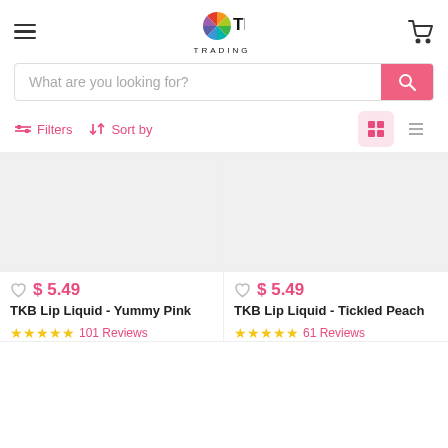TKB Trading
What are you looking for?
Filters  Sort by
[Figure (other): Product image placeholder for TKB Lip Liquid - Yummy Pink]
$ 5.49
TKB Lip Liquid - Yummy Pink
101 Reviews
[Figure (other): Product image placeholder for TKB Lip Liquid - Tickled Peach]
$ 5.49
TKB Lip Liquid - Tickled Peach
61 Reviews